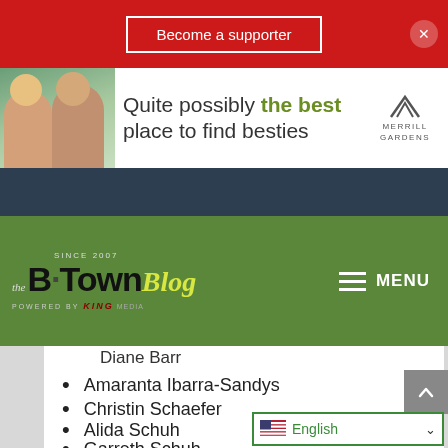Become a supporter
[Figure (photo): Advertisement banner: two elderly women smiling outdoors, with text 'Quite possibly the best place to find besties' and Merrill Gardens logo]
[Figure (logo): The B.Town Blog logo — Since 2007, Powered by King Media — on green background with MENU hamburger icon]
Diane Barr
Amaranta Ibarra-Sandys
Christin Schaefer
Alida Schuh
Garreth Schuh
Serpent & Crow Arts